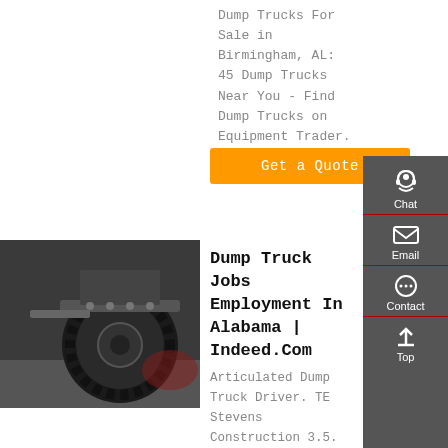Dump Trucks For Sale in Birmingham, AL: 45 Dump Trucks Near You - Find Dump Trucks on Equipment Trader.
Get a Quote
[Figure (photo): Underside view of a dump truck showing large tire and axle components]
Dump Truck Jobs Employment In Alabama | Indeed.Com
Articulated Dump Truck Driver. TE Stevens Construction 3.5.